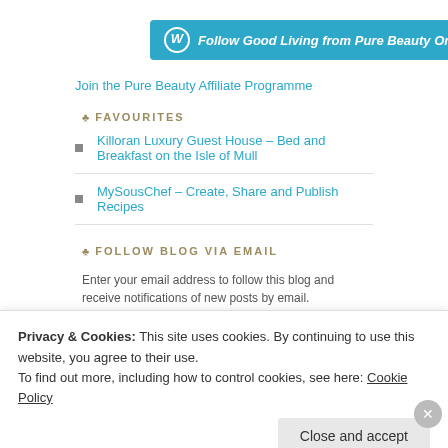[Figure (other): WordPress follow button: blue rounded button with WP logo icon and text 'Follow Good Living from Pure Beauty Online']
Join the Pure Beauty Affiliate Programme
♣ FAVOURITES
Killoran Luxury Guest House – Bed and Breakfast on the Isle of Mull
MySousChef – Create, Share and Publish Recipes
♣ FOLLOW BLOG VIA EMAIL
Enter your email address to follow this blog and receive notifications of new posts by email.
Enter your email address
Privacy & Cookies: This site uses cookies. By continuing to use this website, you agree to their use.
To find out more, including how to control cookies, see here: Cookie Policy
Close and accept